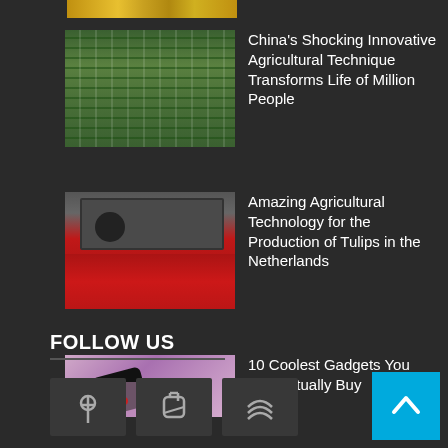[Figure (photo): Partial top strip showing rows of green crops/plants from above]
[Figure (photo): Aerial view of green crop rows in China innovative agricultural setting]
China's Shocking Innovative Agricultural Technique Transforms Life of Million People
[Figure (photo): Red harvesting machine working on tulip fields in the Netherlands]
Amazing Agricultural Technology for the Production of Tulips in the Netherlands
[Figure (photo): Person holding a handheld gadget device against purple/pink background]
10 Coolest Gadgets You Can Actually Buy
[Figure (photo): Hand holding a small black electronic barcode scanner gadget]
12 Coolest Gadgets On Amazon 2022
FOLLOW US